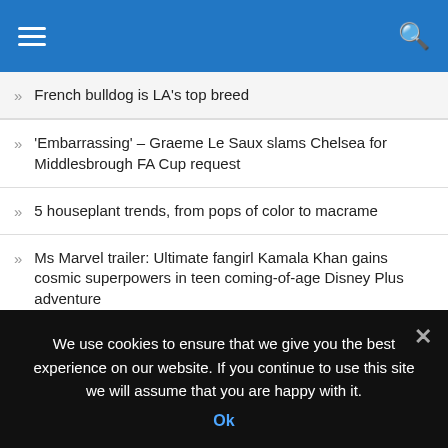French bulldog is LA's top breed
'Embarrassing' – Graeme Le Saux slams Chelsea for Middlesbrough FA Cup request
5 houseplant trends, from pops of color to macrame
Ms Marvel trailer: Ultimate fangirl Kamala Khan gains cosmic superpowers in teen coming-of-age Disney Plus adventure
Ms Marvel trailer: Ultimate fangirl Kamala Khan gains cosmic superpowers in teen coming-of-age Disney Plus adventure
Family of Rob Rinder's Strictly partner Oksana Platero's narrowly
We use cookies to ensure that we give you the best experience on our website. If you continue to use this site we will assume that you are happy with it.
Ok